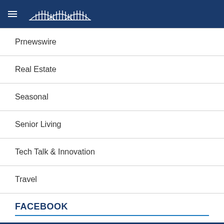The Wetumpka Herald
Prnewswire
Real Estate
Seasonal
Senior Living
Tech Talk & Innovation
Travel
FACEBOOK